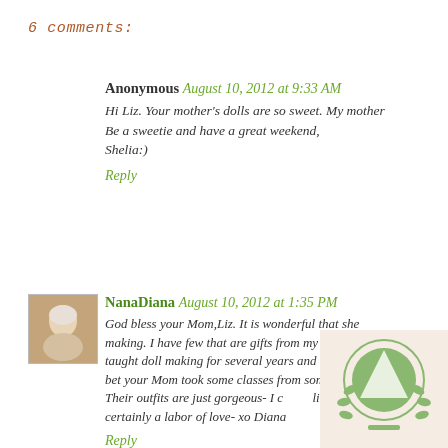6 comments:
Anonymous August 10, 2012 at 9:33 AM
Hi Liz. Your mother's dolls are so sweet. My mother... Be a sweetie and have a great weekend,
Shelia:)
Reply
[Figure (photo): Small avatar photo of NanaDiana, an older woman with white hair]
NanaDiana August 10, 2012 at 1:35 PM
God bless your Mom,Liz. It is wonderful that she making. I have few that are gifts from my frien... taught doll making for several years and had the k... bet your Mom took some classes from someone ... Their outfits are just gorgeous- I c...lik... certainly a labor of love- xo Diana
Reply